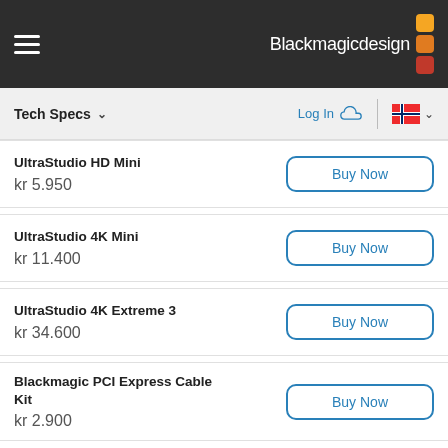Blackmagicdesign
Tech Specs
UltraStudio HD Mini
kr 5.950
UltraStudio 4K Mini
kr 11.400
UltraStudio 4K Extreme 3
kr 34.600
Blackmagic PCI Express Cable Kit
kr 2.900